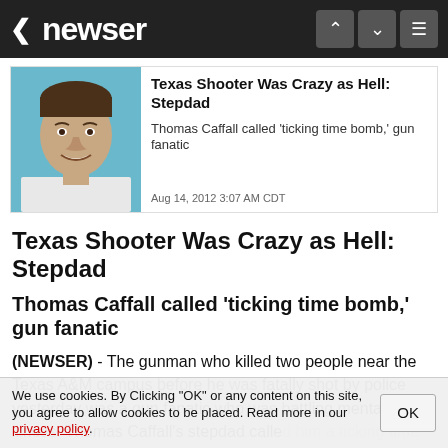newser
[Figure (photo): Headshot photo of Thomas Caffall, a man with short dark hair smiling, against a teal/blue background]
Texas Shooter Was Crazy as Hell: Stepdad
Thomas Caffall called 'ticking time bomb,' gun fanatic
Aug 14, 2012 3:07 AM CDT
Texas Shooter Was Crazy as Hell: Stepdad
Thomas Caffall called 'ticking time bomb,' gun fanatic
(NEWSER) - The gunman who killed two people near the Texas A&M campus before he was fatally shot by police yesterday was a gun fanatic who was battling mental illness. Thomas Caffall's stepdad called him a ticking time bomb." He
We use cookies. By Clicking "OK" or any content on this site, you agree to allow cookies to be placed. Read more in our privacy policy.